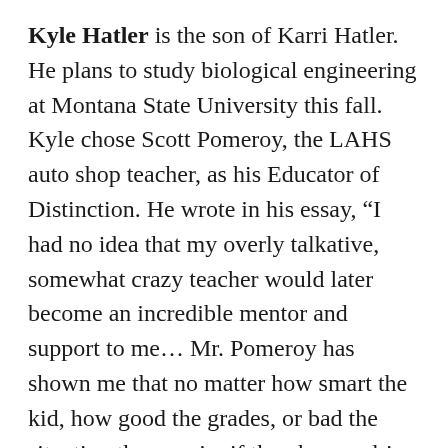Kyle Hatler is the son of Karri Hatler. He plans to study biological engineering at Montana State University this fall. Kyle chose Scott Pomeroy, the LAHS auto shop teacher, as his Educator of Distinction. He wrote in his essay, “I had no idea that my overly talkative, somewhat crazy teacher would later become an incredible mentor and support to me… Mr. Pomeroy has shown me that no matter how smart the kid, how good the grades, or bad the situation they are in, if they have a drive and a good work ethic they can accomplish great things… He cares more about making sure kids can have a great future